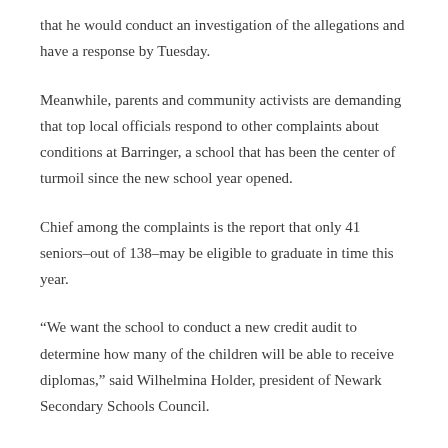that he would conduct an investigation of the allegations and have a response by Tuesday.
Meanwhile, parents and community activists are demanding that top local officials respond to other complaints about conditions at Barringer, a school that has been the center of turmoil since the new school year opened.
Chief among the complaints is the report that only 41 seniors–out of 138–may be eligible to graduate in time this year.
“We want the school to conduct a new credit audit to determine how many of the children will be able to receive diplomas,” said Wilhelmina Holder, president of Newark Secondary Schools Council.